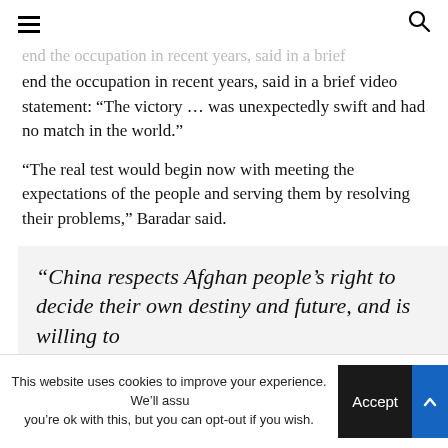≡  🔍
end the occupation in recent years, said in a brief video statement: “The victory … was unexpectedly swift and had no match in the world.”
“The real test would begin now with meeting the expectations of the people and serving them by resolving their problems,” Baradar said.
“China respects Afghan people’s right to decide their own destiny and future, and is willing to
This website uses cookies to improve your experience. We’ll assume you’re ok with this, but you can opt-out if you wish.